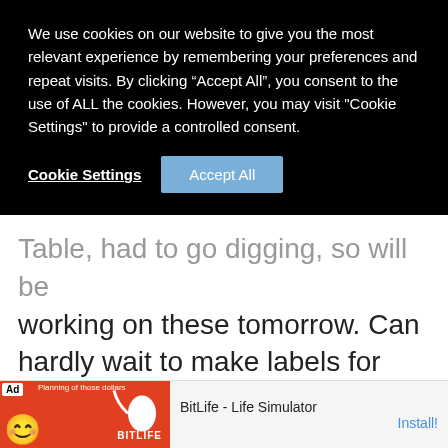We use cookies on our website to give you the most relevant experience by remembering your preferences and repeat visits. By clicking “Accept All”, you consent to the use of ALL the cookies. However, you may visit "Cookie Settings" to provide a controlled consent.
Cookie Settings
Accept All
Table, had to go digging, so will be working on these tomorrow. Can hardly wait to make labels for some jars, bottles I have.
Love when I can make something different, put my own slant on it. I made a cotton boll wreath, hung it
[Figure (screenshot): Advertisement banner for BitLife - Life Simulator app with Ad badge, emoji graphic, red background with logo, and Install button]